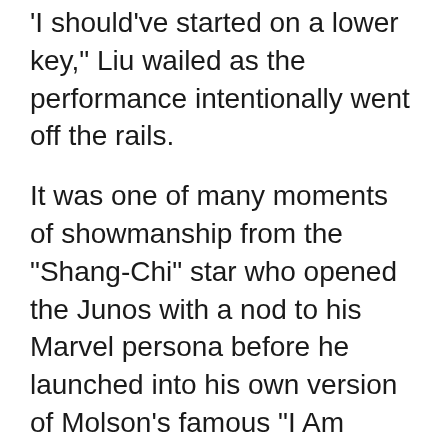'I should've started on a lower key," Liu wailed as the performance intentionally went off the rails.
It was one of many moments of showmanship from the "Shang-Chi" star who opened the Junos with a nod to his Marvel persona before he launched into his own version of Molson's famous "I Am Canadian" pledge.
"I grew up on ketchup chips, roti and Jamaican beef patties," he told the crowd at Toronto's Budweiser Stage.
"By the way, it's pronounced `bubble tea,' not `boba'," he jested.
Liu also used the bit as an opportunity to get a